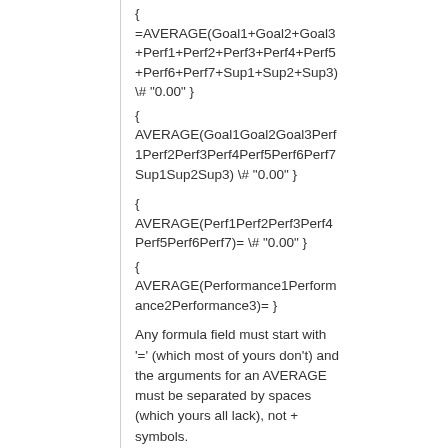{ =AVERAGE(Goal1+Goal2+Goal3+Perf1+Perf2+Perf3+Perf4+Perf5+Perf6+Perf7+Sup1+Sup2+Sup3) \# "0.00" }
{ AVERAGE(Goal1Goal2Goal3Perf1Perf2Perf3Perf4Perf5Perf6Perf7Sup1Sup2Sup3) \# "0.00" }
{ AVERAGE(Perf1Perf2Perf3Perf4Perf5Perf6Perf7)= \# "0.00" }
{ AVERAGE(Performance1Performance2Performance3)= }
Any formula field must start with '=' (which most of yours don't) and the arguments for an AVERAGE must be separated by spaces (which yours all lack), not + symbols.